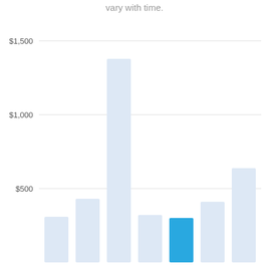vary with time.
[Figure (bar-chart): ]